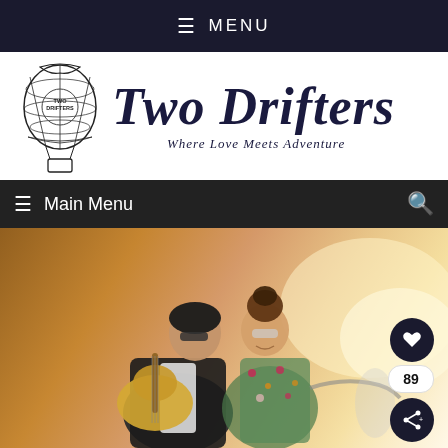☰ MENU
[Figure (logo): Two Drifters blog logo with hot air balloon illustration and stylized text 'Two Drifters — Where Love Meets Adventure']
☰ Main Menu 🔍
[Figure (photo): A couple sitting together; a man in a black leather jacket holding a guitar leans toward a woman in a floral dress with an updo hairstyle, in an urban outdoor setting with warm golden light. Social interaction buttons visible: heart icon, count '89', share icon.]